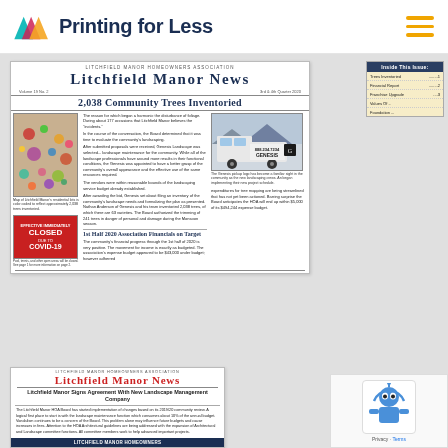Printing for Less
[Figure (screenshot): Screenshot of a newsletter page - Litchfield Manor Homeowners Association newsletter showing 'Litchfield Manor News', headline '2,038 Community Trees Inventoried', photos of aerial tree map and truck with Genesis logo, article about 1st Half 2020 Association Financials on Target, bottom preview with landscape management company story, and an Inside This Issue panel]
LITCHFIELD MANOR HOMEOWNERS ASSOCIATION
Litchfield Manor News
Volume 19 No. 2   3rd & 4th Quarter 2020
2,038 Community Trees Inventoried
The reason for which began a harmonic the disturbance of foliage. During about 177 occasions that Litchfield Manor believes the 'incidents.'
In the course of the conversation, the Board determined that it was time to evaluate the community's landscaping.
After submitted proposals were reviewed, Genesis Landscaping was selected...landscape maintenance for the community. While all of the landscape professionals were around more results in their functional conditions, the Genesis was appointed to have a better grasp of the community's overall appearance and the effective use of the same resources required.
The Genesis pickup logo has become a familiar sight in the community as the new landscaping crews. An began implementing their new project schedule.
1st Half 2020 Association Financials on Target
The community's financial progress through the 1st half of 2020 is very positive. The movement for income is exactly as budgeted. The association's expense budget appeared to be $43,000 under budget; however adherred expenditures for tree mapping are being streamlined that has not yet been actioned. Barring surprise the Board anticipates the HOA will end up within $5,000 of its $494,244 expense budget.
Litchfield Manor Signs Agreement With New Landscape Management Company
The Litchfield Manor HOA Board has started implementation of changes based on its 2019/20 community review. A logical first place to start is with the landscape maintenance function which consumes about 10% of the annual budget. Vandalism continues to be a concern of the Board. This problem alone may influence future budgets and cause increases in fees. Attention to the HOA Architectural guidelines are being addressed with the expansion of Architectural and Landscape committee functions. All committee members work to help advanced important projects.
| Inside This Issue |
| --- |
| Trees Inventoried ... 1 |
| Financial Report ... 2 |
| Franchise Upgrade ... 3 |
| Values Of ... |
| Foundation ... |
LITCHFIELD MANOR HOMEOWNERS